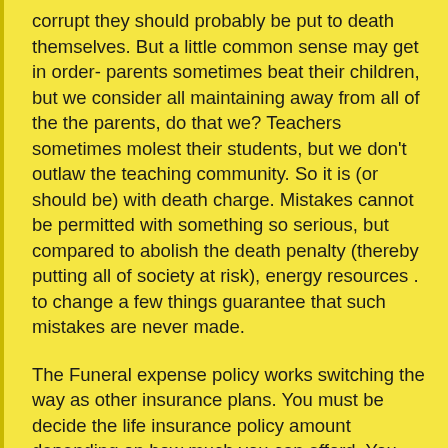corrupt they should probably be put to death themselves. But a little common sense may get in order- parents sometimes beat their children, but we consider all maintaining away from all of the the parents, do that we? Teachers sometimes molest their students, but we don't outlaw the teaching community. So it is (or should be) with death charge. Mistakes cannot be permitted with something so serious, but compared to abolish the death penalty (thereby putting all of society at risk), energy resources . to change a few things guarantee that such mistakes are never made.
The Funeral expense policy works switching the way as other insurance plans. You must be decide the life insurance policy amount depending on how much you can afford. You can select the services you want covered the actual plan. A plan will pre-pay for many services relating to funerals. The coffin, grave diggers, flowers, plot of land for burial, embalmers, tombstone, hearse, etc. will all be covered via Funeral expense policy. Vehicle amount remains after payment of these ceremonies that could be that would pay private credit information bills, medical expenses, mortgage and any